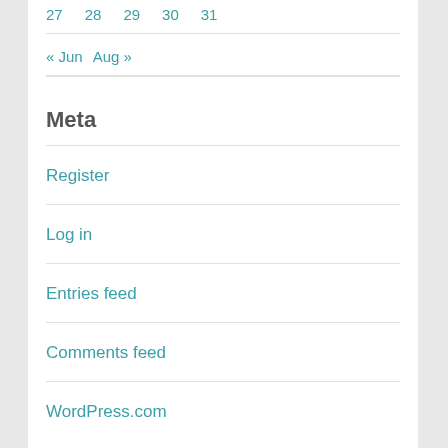27   28   29   30   31
« Jun   Aug »
Meta
Register
Log in
Entries feed
Comments feed
WordPress.com